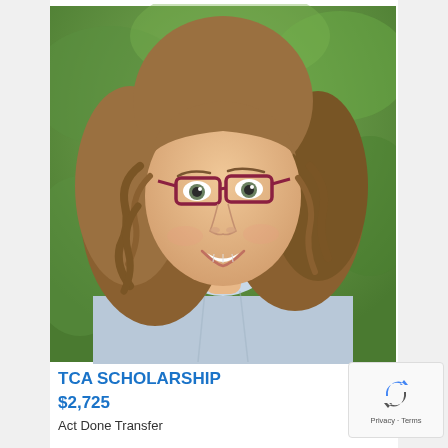[Figure (photo): Portrait photo of a young woman with curly brown hair wearing red-framed glasses and a light blue chambray shirt, smiling, with a green blurred background]
TCA SCHOLARSHIP
$2,725
Act Done Transfer